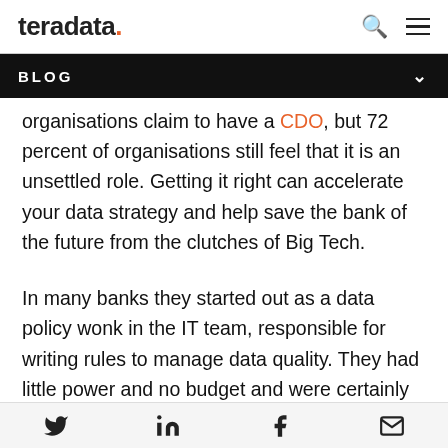teradata. [search] [menu]
BLOG
organisations claim to have a CDO, but 72 percent of organisations still feel that it is an unsettled role. Getting it right can accelerate your data strategy and help save the bank of the future from the clutches of Big Tech.
In many banks they started out as a data policy wonk in the IT team, responsible for writing rules to manage data quality. They had little power and no budget and were certainly not connected to wider
Twitter LinkedIn Facebook Email